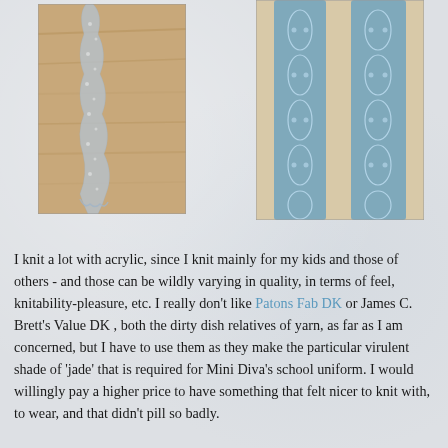[Figure (photo): Photo of a delicate pale blue/grey lace knitted scarf or shawl draped over a wooden surface, showing fine lace pattern]
[Figure (photo): Photo of a blue lace knitted scarf or shawl laid flat on a light surface, showing intricate lace leaf/floral pattern]
I knit a lot with acrylic, since I knit mainly for my kids and those of others - and those can be wildly varying in quality, in terms of feel, knitability-pleasure, etc. I really don't like Patons Fab DK or James C. Brett's Value DK , both the dirty dish relatives of yarn, as far as I am concerned, but I have to use them as they make the particular virulent shade of 'jade' that is required for Mini Diva's school uniform. I would willingly pay a higher price to have something that felt nicer to knit with, to wear, and that didn't pill so badly.